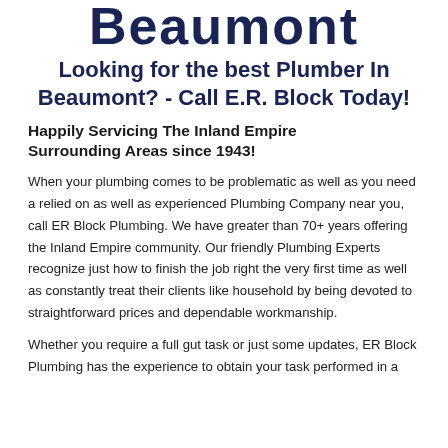Beaumont
Looking for the best Plumber In Beaumont? - Call E.R. Block Today!
Happily Servicing The Inland Empire Surrounding Areas since 1943!
When your plumbing comes to be problematic as well as you need a relied on as well as experienced Plumbing Company near you, call ER Block Plumbing. We have greater than 70+ years offering the Inland Empire community. Our friendly Plumbing Experts recognize just how to finish the job right the very first time as well as constantly treat their clients like household by being devoted to straightforward prices and dependable workmanship.
Whether you require a full gut task or just some updates, ER Block Plumbing has the experience to obtain your task performed in a